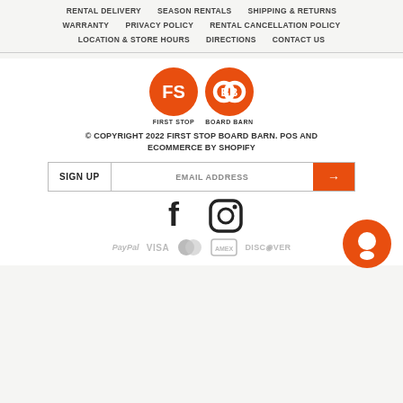RENTAL DELIVERY   SEASON RENTALS   SHIPPING & RETURNS
WARRANTY   PRIVACY POLICY   RENTAL CANCELLATION POLICY
LOCATION & STORE HOURS   DIRECTIONS   CONTACT US
[Figure (logo): Two orange circular logos: FS (First Stop) and BB (Board Barn) with text labels below]
© COPYRIGHT 2022 FIRST STOP BOARD BARN. POS AND ECOMMERCE BY SHOPIFY
SIGN UP   EMAIL ADDRESS →
[Figure (infographic): Facebook and Instagram social media icons]
[Figure (infographic): Payment icons: PayPal, VISA, Mastercard, American Express, Discover]